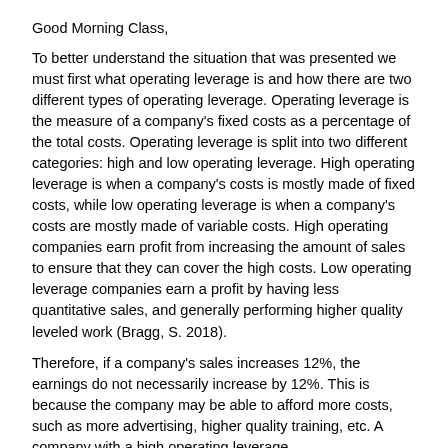Good Morning Class,
To better understand the situation that was presented we must first what operating leverage is and how there are two different types of operating leverage. Operating leverage is the measure of a company's fixed costs as a percentage of the total costs. Operating leverage is split into two different categories: high and low operating leverage. High operating leverage is when a company's costs is mostly made of fixed costs, while low operating leverage is when a company's costs are mostly made of variable costs. High operating companies earn profit from increasing the amount of sales to ensure that they can cover the high costs. Low operating leverage companies earn a profit by having less quantitative sales, and generally performing higher quality leveled work (Bragg, S. 2018).
Therefore, if a company's sales increases 12%, the earnings do not necessarily increase by 12%. This is because the company may be able to afford more costs, such as more advertising, higher quality training, etc. A company with a high operating leverage